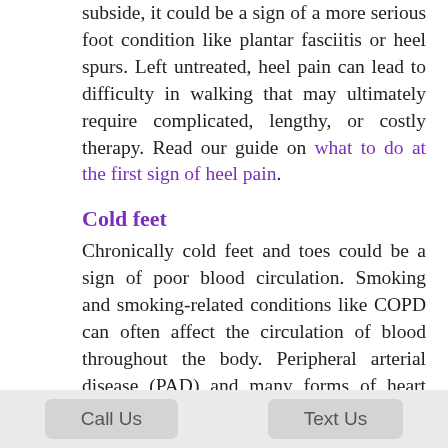subside, it could be a sign of a more serious foot condition like plantar fasciitis or heel spurs. Left untreated, heel pain can lead to difficulty in walking that may ultimately require complicated, lengthy, or costly therapy. Read our guide on what to do at the first sign of heel pain.
Cold feet
Chronically cold feet and toes could be a sign of poor blood circulation. Smoking and smoking-related conditions like COPD can often affect the circulation of blood throughout the body. Peripheral arterial disease (PAD) and many forms of heart disease can restrict arteries and reduce blood flow as well. Bodily extremities like the feet are particularly susceptible to poor circulation, which may make feet feel cold or numb.
Itchy fe